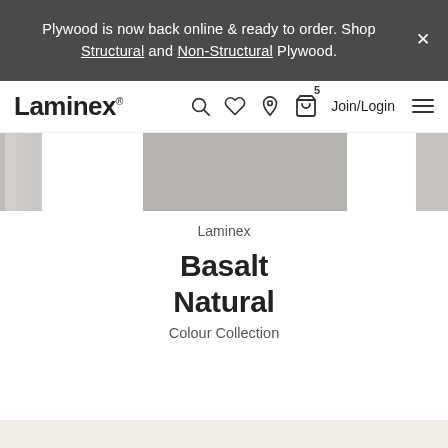Plywood is now back online & ready to order. Shop Structural and Non-Structural Plywood.
[Figure (screenshot): Laminex website navigation bar with logo, search, wishlist, store locator, cart (5 items), Join/Login, and hamburger menu icons]
[Figure (photo): Grey laminate texture swatch for Basalt Natural product, shown as main product colour image]
Laminex
Basalt
Natural
Colour Collection